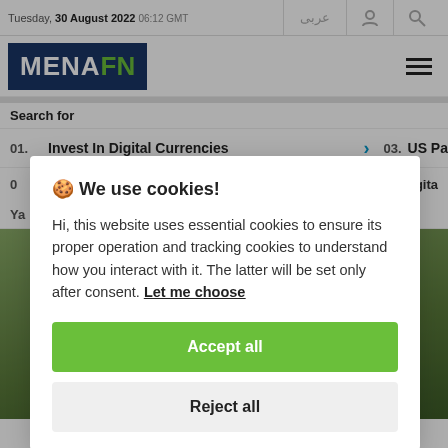Tuesday, 30 August 2022 06:12 GMT
[Figure (logo): MENAFN logo — white MENA and green FN on dark navy background]
Search for
01. Invest In Digital Currencies > 03. US Pa
🍪 We use cookies!

Hi, this website uses essential cookies to ensure its proper operation and tracking cookies to understand how you interact with it. The latter will be set only after consent. Let me choose

[Accept all] [Reject all]